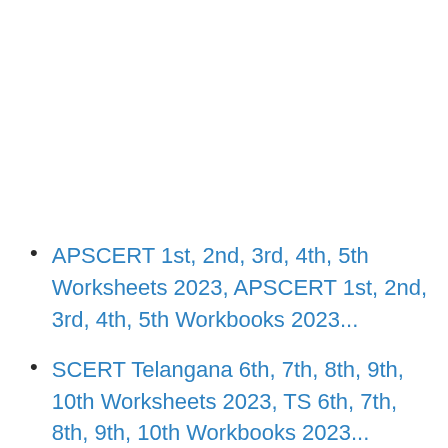APSCERT 1st, 2nd, 3rd, 4th, 5th Worksheets 2023, APSCERT 1st, 2nd, 3rd, 4th, 5th Workbooks 2023...
SCERT Telangana 6th, 7th, 8th, 9th, 10th Worksheets 2023, TS 6th, 7th, 8th, 9th, 10th Workbooks 2023...